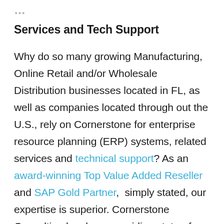Services and Tech Support
Why do so many growing Manufacturing, Online Retail and/or Wholesale Distribution businesses located in FL, as well as companies located through out the U.S., rely on Cornerstone for enterprise resource planning (ERP) systems, related services and technical support? As an award-winning Top Value Added Reseller and SAP Gold Partner,  simply stated, our expertise is superior. Cornerstone Consulting has been providing state-of-the-art business